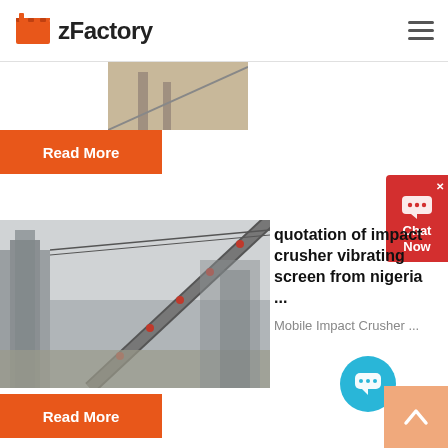zFactory
[Figure (photo): Partial image visible at top of page, industrial conveyor belt]
Read More
[Figure (screenshot): Chat Now widget on right side with red background and chat bubble icon]
[Figure (photo): Industrial conveyor belt and crushing equipment at a quarry or mining site]
quotation of impact crusher vibrating screen from nigeria ...
Mobile Impact Crusher ...
Read More
[Figure (other): Blue circular chat bubble button overlay]
[Figure (other): Orange scroll-to-top button with upward arrow at bottom right]